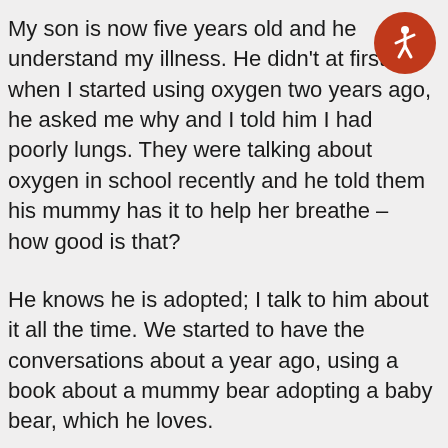[Figure (other): Orange circular accessibility icon (wheelchair/person symbol) in top-right corner]
My son is now five years old and he understand my illness. He didn't at first but when I started using oxygen two years ago, he asked me why and I told him I had poorly lungs. They were talking about oxygen in school recently and he told them his mummy has it to help her breathe – how good is that?
He knows he is adopted; I talk to him about it all the time. We started to have the conversations about a year ago, using a book about a mummy bear adopting a baby bear, which he loves.
He does understand. I've shown him photos of his birth parents, but he doesn't want to know at the moment. In